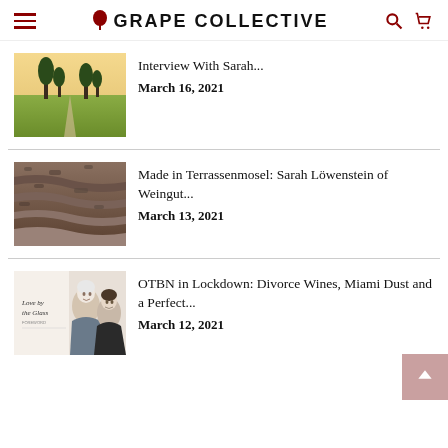GRAPE COLLECTIVE
[Figure (photo): Vineyard road with trees at dusk]
Interview With Sarah...
March 16, 2021
[Figure (photo): Terraced vineyard steep rocky hillside]
Made in Terrassenmosel: Sarah Löwenstein of Weingut...
March 13, 2021
[Figure (photo): Book cover Love by the Glass with two people]
OTBN in Lockdown: Divorce Wines, Miami Dust and a Perfect...
March 12, 2021